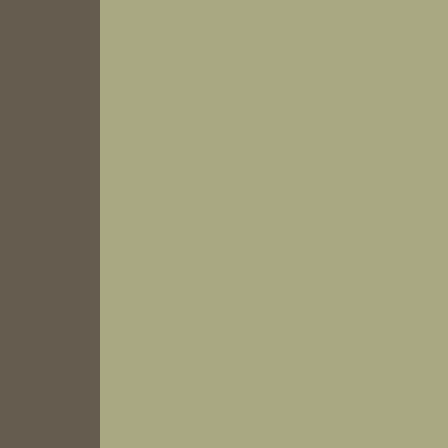conventional hardbound and paper...
marijuana pipes
Posted 6 months ago by robinjack
Thanks for your insight for that we... I’m glad I have taken the time...
slingshot sl for sale
Posted 6 months ago by Baba1
i think that gay marriage should be... states but not in other states . Sam...
Posted 6 months ago by Baba1
There is noticeably a lot of money... suppose you have made specific n... also. Apex Legends
Posted 6 months ago by Baba1
I love to visit your web-blog, the t...
Loft Insulation
Posted 6 months ago by Baba1
Interesting article , I am going to s... researching this topic New Jersey...